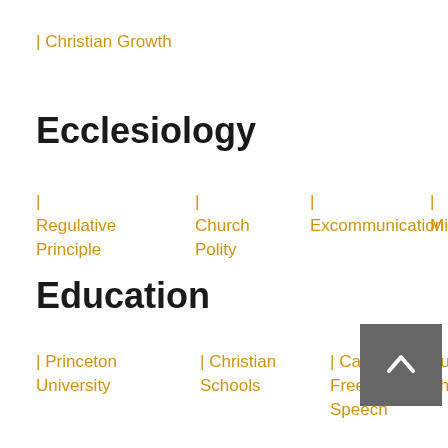| Christian Growth
Ecclesiology
| Regulative Principle
| Church Polity
| Excommunication
| Mission
Education
| Princeton University
| Christian Schools
| Campus Free Speech
| Public Schools